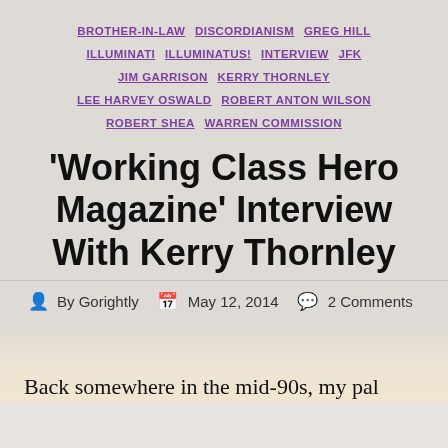BROTHER-IN-LAW  DISCORDIANISM  GREG HILL  ILLUMINATI  ILLUMINATUS!  INTERVIEW  JFK  JIM GARRISON  KERRY THORNLEY  LEE HARVEY OSWALD  ROBERT ANTON WILSON  ROBERT SHEA  WARREN COMMISSION
'Working Class Hero Magazine' Interview With Kerry Thornley
By Gorightly  May 12, 2014  2 Comments
Back somewhere in the mid-90s, my pal